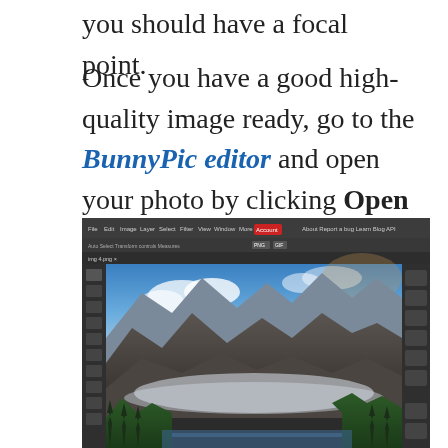you should have a focal point.
Once you have a good high-quality image ready, go to the BunnyPic editor and open your photo by clicking Open from Computer and selecting your photo.
[Figure (screenshot): Screenshot of the BunnyPic photo editor interface showing a mountain landscape photo loaded in the editor, with dark toolbar at top, tools panel on left, and panels on right.]